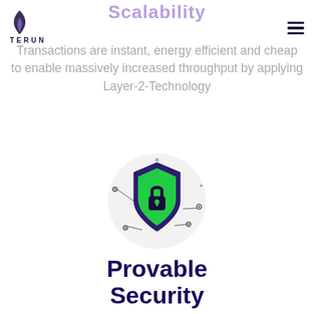Scalability
TERUN (logo + hamburger menu)
Transactions are instant, energy efficient and cheap to enable massively increased throughput by applying Layer-2-Technology
[Figure (illustration): Shield icon with a green fill and a dark purple padlock in the center, surrounded by small circuit-like nodes and dots on a light grey circular background]
Provable Security